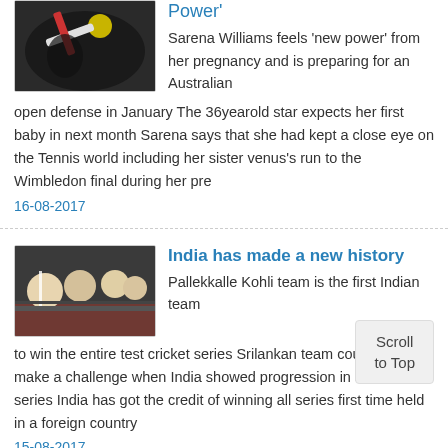Power'
Sarena Williams feels 'new power' from her pregnancy and is preparing for an Australian open defense in January The 36yearold star expects her first baby in next month Sarena says that she had kept a close eye on the Tennis world including her sister venus's run to the Wimbledon final during her pre
16-08-2017
India has made a new history
Pallekkalle Kohli team is the first Indian team to win the entire test cricket series Srilankan team couldnt even make a challenge when India showed progression in all three series India has got the credit of winning all series first time held in a foreign country
15-08-2017
Super Copa